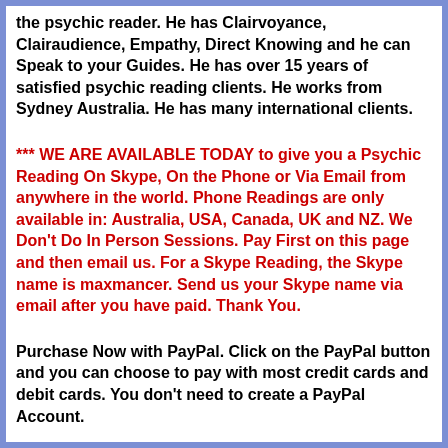the psychic reader. He has Clairvoyance, Clairaudience, Empathy, Direct Knowing and he can Speak to your Guides. He has over 15 years of satisfied psychic reading clients. He works from Sydney Australia. He has many international clients.
*** WE ARE AVAILABLE TODAY to give you a Psychic Reading On Skype, On the Phone or Via Email from anywhere in the world. Phone Readings are only available in: Australia, USA, Canada, UK and NZ. We Don't Do In Person Sessions. Pay First on this page and then email us. For a Skype Reading, the Skype name is maxmancer. Send us your Skype name via email after you have paid. Thank You.
Purchase Now with PayPal. Click on the PayPal button and you can choose to pay with most credit cards and debit cards. You don't need to create a PayPal Account.
You can decide how you receive the psychic reading.